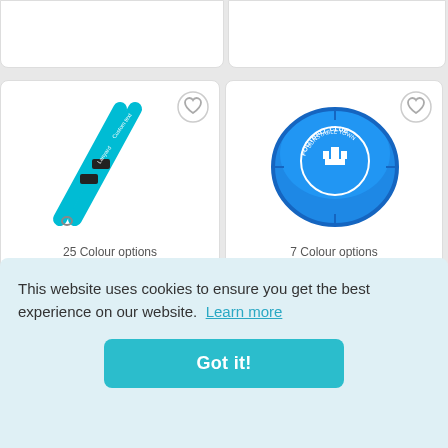[Figure (photo): Blue lanyard with custom text printed on it, with a metal clip at the bottom]
25 Colour options
[Figure (photo): Blue circular retractable tape measure with a football club logo on top]
7 Colour options
ts
ep
ns
Item No: AS125
This website uses cookies to ensure you get the best experience on our website.  Learn more
Got it!